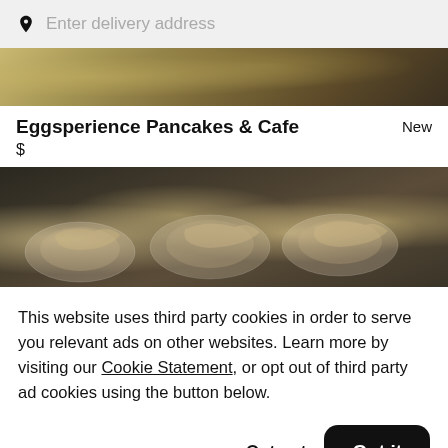Enter delivery address
[Figure (photo): Partial view of food items on a dark background, top crop]
Eggsperience Pancakes & Cafe   New
$
[Figure (photo): Multiple plates of food (pancakes, crepes, various dishes) on a dark background]
This website uses third party cookies in order to serve you relevant ads on other websites. Learn more by visiting our Cookie Statement, or opt out of third party ad cookies using the button below.
Opt out   Got it